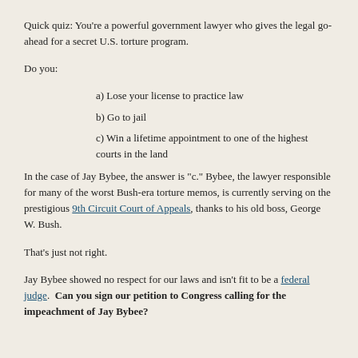Quick quiz: You're a powerful government lawyer who gives the legal go-ahead for a secret U.S. torture program.
Do you:
a) Lose your license to practice law
b) Go to jail
c) Win a lifetime appointment to one of the highest courts in the land
In the case of Jay Bybee, the answer is "c." Bybee, the lawyer responsible for many of the worst Bush-era torture memos, is currently serving on the prestigious 9th Circuit Court of Appeals, thanks to his old boss, George W. Bush.
That's just not right.
Jay Bybee showed no respect for our laws and isn't fit to be a federal judge. Can you sign our petition to Congress calling for the impeachment of Jay Bybee?